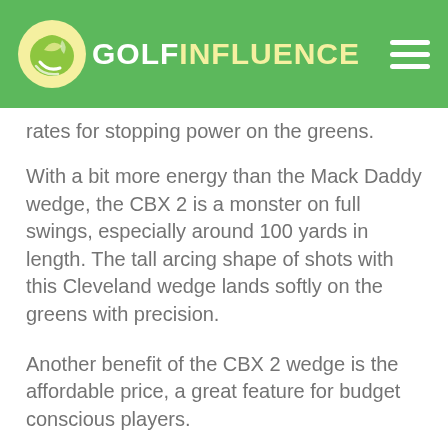Golf Influence
rates for stopping power on the greens.
With a bit more energy than the Mack Daddy wedge, the CBX 2 is a monster on full swings, especially around 100 yards in length. The tall arcing shape of shots with this Cleveland wedge lands softly on the greens with precision.
Another benefit of the CBX 2 wedge is the affordable price, a great feature for budget conscious players.